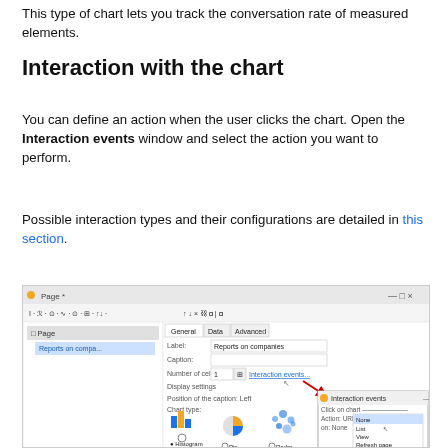This type of chart lets you track the conversation rate of measured elements.
Interaction with the chart
You can define an action when the user clicks the chart. Open the Interaction events window and select the action you want to perform.
Possible interaction types and their configurations are detailed in this section.
[Figure (screenshot): Screenshot of a software UI showing a Page properties dialog with General, Data, Advanced tabs. Label field shows 'Reports on companies'. A Number of cells field with an 'Interaction events...' link is shown. Chart type options show Histogram, Pie, Radar icons. An 'Interaction events' popup window is open showing 'Click on chart' section with Action: URL, with a dropdown menu showing options: None, List, View, Refresh page, Next page, Previous page, Enable a transition, JavaScript function. A red arrow points from the Interaction events link to the popup.]